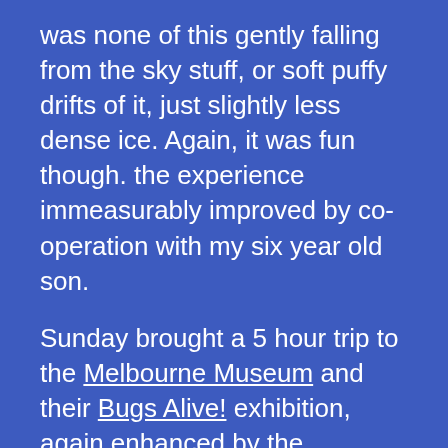was none of this gently falling from the sky stuff, or soft puffy drifts of it, just slightly less dense ice. Again, it was fun though. the experience immeasurably improved by co-operation with my six year old son.
Sunday brought a 5 hour trip to the Melbourne Museum and their Bugs Alive! exhibition, again enhanced by the presence of a 6-yo. I found it fascinating how they are using technology to market the science and history contained within the Museum. Kids seem to find it much more accessible and interesting, and learn far more than they realise.
Of course, I'm back to work today. Meh.